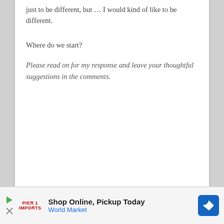just to be different, but … I would kind of like to be different.
Where do we start?
Please read on for my response and leave your thoughtful suggestions in the comments.
[Figure (other): Advertisement banner: Shop Online, Pickup Today - World Market with play icon, close icon, brand logo, and navigation arrow icon]